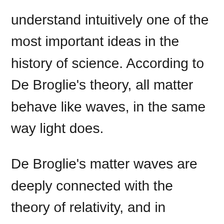understand intuitively one of the most important ideas in the history of science. According to De Broglie's theory, all matter behave like waves, in the same way light does.
De Broglie's matter waves are deeply connected with the theory of relativity, and in particular,with the Energy-dispersion relations derived earlier.
Einstein had already worked out, in 1905, the idea that light comes in discrete energy quanta. We now call these photons. This was based on Planck's theory of radiation. The Energy of this